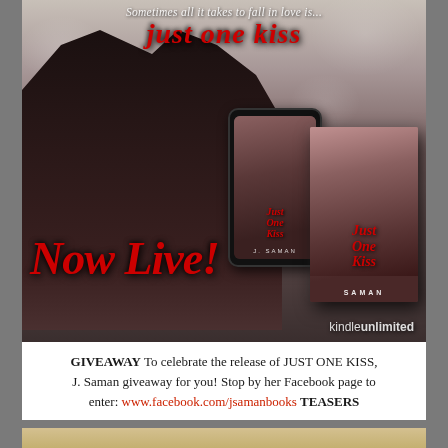[Figure (photo): Promotional book cover image for 'Just One Kiss' by J. Saman. Shows a couple almost kissing against a floral background, with 'Now Live!' text in red script. Includes phone and book cover mockups with 'kindle unlimited' text. Tagline at top reads 'Sometimes all it takes to fall in love is... just one kiss']
GIVEAWAY To celebrate the release of JUST ONE KISS, J. Saman giveaway for you! Stop by her Facebook page to enter: www.facebook.com/jsamanbooks TEASERS